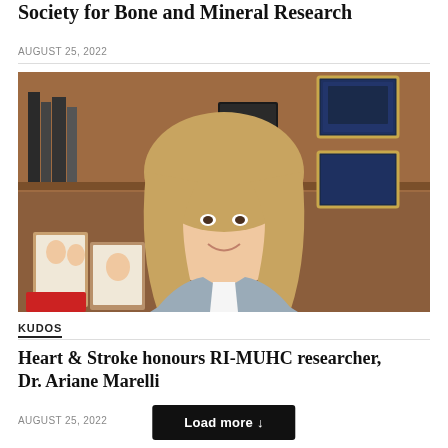Society for Bone and Mineral Research
AUGUST 25, 2022
[Figure (photo): Portrait photo of a woman with long blonde hair, smiling, wearing a grey blazer and white blouse, seated in front of a bookshelf with plaques and framed photos on the wall behind her.]
KUDOS
Heart & Stroke honours RI-MUHC researcher, Dr. Ariane Marelli
AUGUST 25, 2022
Load more ↓